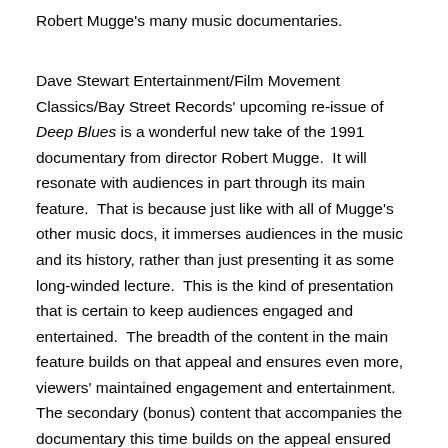Robert Mugge's many music documentaries.
Dave Stewart Entertainment/Film Movement Classics/Bay Street Records' upcoming re-issue of Deep Blues is a wonderful new take of the 1991 documentary from director Robert Mugge.  It will resonate with audiences in part through its main feature.  That is because just like with all of Mugge's other music docs, it immerses audiences in the music and its history, rather than just presenting it as some long-winded lecture.  This is the kind of presentation that is certain to keep audiences engaged and entertained.  The breadth of the content in the main feature builds on that appeal and ensures even more, viewers' maintained engagement and entertainment.  The secondary (bonus) content that accompanies the documentary this time builds on the appeal ensured through the main feature.  That is because of the added background and other